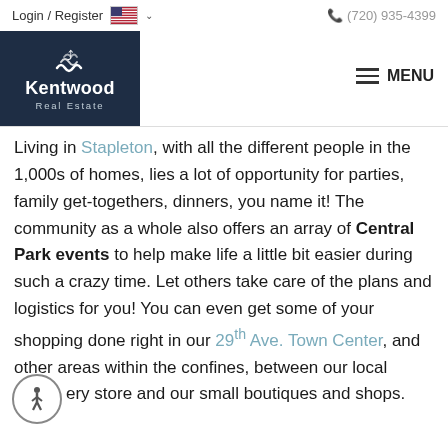Login / Register  (720) 935-4399
[Figure (logo): Kentwood Real Estate logo — dark navy square with wifi/waves icon and text 'Kentwood Real Estate']
MENU
Living in Stapleton, with all the different people in the 1,000s of homes, lies a lot of opportunity for parties, family get-togethers, dinners, you name it!  The community as a whole also offers an array of Central Park events to help make life a little bit easier during such a crazy time.  Let others take care of the plans and logistics for you!  You can even get some of your shopping done right in our 29th Ave. Town Center, and other areas within the confines, between our local grocery store and our small boutiques and shops.